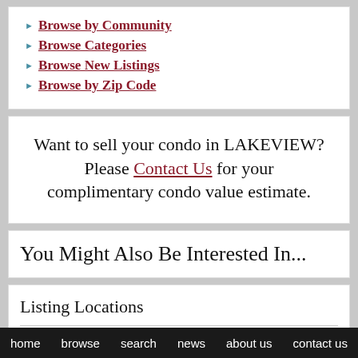Browse by Community
Browse Categories
Browse New Listings
Browse by Zip Code
Want to sell your condo in LAKEVIEW? Please Contact Us for your complimentary condo value estimate.
You Might Also Be Interested In...
Listing Locations
[Figure (map): Partial map image visible at bottom of listing locations section]
home   browse   search   news   about us   contact us